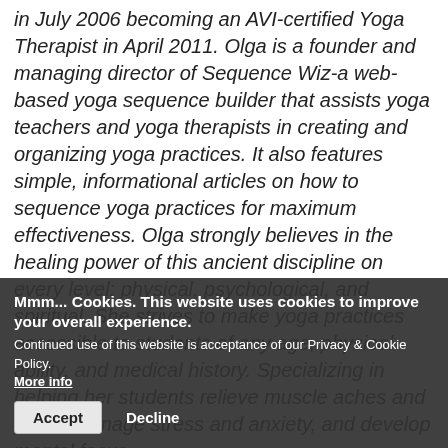in July 2006 becoming an AVI-certified Yoga Therapist in April 2011. Olga is a founder and managing director of Sequence Wiz-a web-based yoga sequence builder that assists yoga teachers and yoga therapists in creating and organizing yoga practices. It also features simple, informational articles on how to sequence yoga practices for maximum effectiveness. Olga strongly believes in the healing power of this ancient discipline on every level: physical, psychological, and spiritual. She strives to make yoga practices accessible to students of any age, physical ability, and medical history. Specializing in helping her students relieve muscle aches and pains, manage stress and anxiety, and develop mental focus.
Mmm... Cookies. This website uses cookies to improve your overall experience. Continued use of this website is acceptance of our Privacy & Cookie Policy. More info